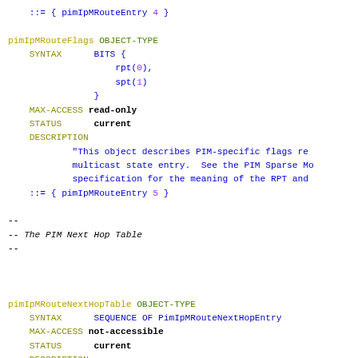::= { pimIpMRouteEntry 4 }

pimIpMRouteFlags OBJECT-TYPE
    SYNTAX      BITS {
                    rpt(0),
                    spt(1)
                }
    MAX-ACCESS  read-only
    STATUS      current
    DESCRIPTION
            "This object describes PIM-specific flags re
            multicast state entry.  See the PIM Sparse Mo
            specification for the meaning of the RPT and
    ::= { pimIpMRouteEntry 5 }

--
-- The PIM Next Hop Table
--


pimIpMRouteNextHopTable OBJECT-TYPE
    SYNTAX      SEQUENCE OF PimIpMRouteNextHopEntry
    MAX-ACCESS  not-accessible
    STATUS      current
    DESCRIPTION
            "The (conceptual) table listing PIM-specific
            a subset of the rows of the ipMRouteNextHopTa
            the IP Multicast MIB."
    ::= { pim 7 }